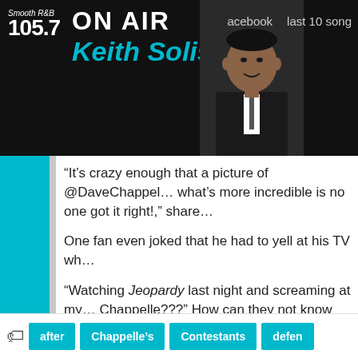Smooth R&B 105.7 — ON AIR — Keith Solis — acebook — last 10 songs
“It’s crazy enough that a picture of @DaveChappelle what’s more incredible is no one got it right!,” shared
One fan even joked that he had to yell at his TV wh
“Watching Jeopardy last night and screaming at my Chappelle???” How can they not know who he is? Comedy Central,” he wrote.
Chappelle has yet to comment on the Jeopardy! ep
By Candice Williams
Copyright © 2021, ABC Audio. All rights reserved.
after | Chappelle’s | Contestants | defen